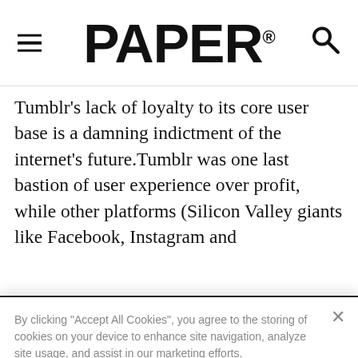PAPER
Tumblr's lack of loyalty to its core user base is a damning indictment of the internet's future.Tumblr was one last bastion of user experience over profit, while other platforms (Silicon Valley giants like Facebook, Instagram and
By clicking “Accept All Cookies”, you agree to the storing of cookies on your device to enhance site navigation, analyze site usage, and assist in our marketing efforts.
Cookies Settings
Reject All
Accept All Cookies